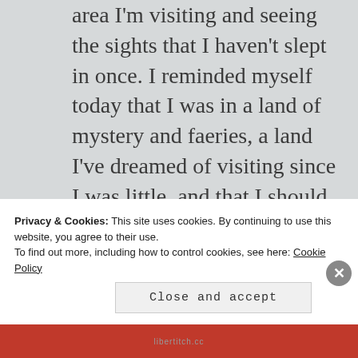area I'm visiting and seeing the sights that I haven't slept in once. I reminded myself today that I was in a land of mystery and faeries, a land I've dreamed of visiting since I was little, and that I should worry less about when the ferry would be leaving, and whether I would miss the next bus (or catch it in time and be sick during the long ride), etc., and try to relax and enjoy myself a little.
Privacy & Cookies: This site uses cookies. By continuing to use this website, you agree to their use. To find out more, including how to control cookies, see here: Cookie Policy
Close and accept